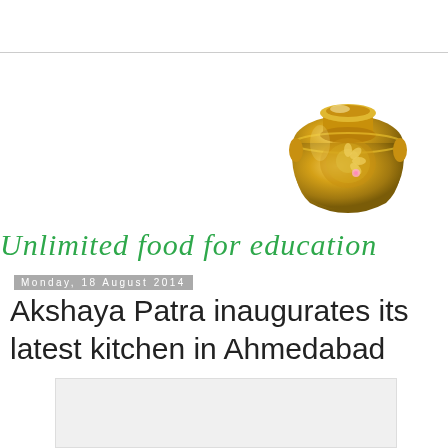[Figure (illustration): Golden decorative pot (Akshaya Patra) with ornate engravings, golden color with decorative motifs]
Unlimited food for education
Monday, 18 August 2014
Akshaya Patra inaugurates its latest kitchen in Ahmedabad
[Figure (photo): Placeholder image box (light gray, content not visible)]